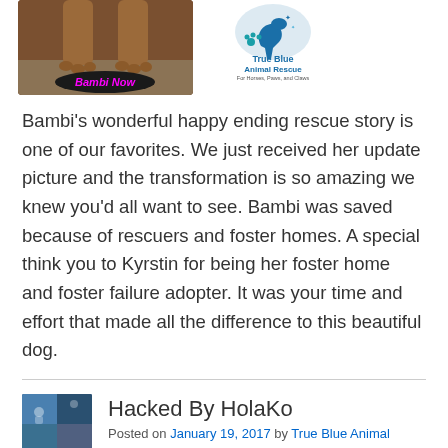[Figure (photo): Photo of dog paws on ground with 'Bambi Now' label in pink text on black oval, next to True Blue Animal Rescue logo]
Bambi's wonderful happy ending rescue story is one of our favorites. We just received her update picture and the transformation is so amazing we knew you'd all want to see. Bambi was saved because of rescuers and foster homes. A special think you to Kyrstin for being her foster home and foster failure adopter. It was your time and effort that made all the difference to this beautiful dog.
Hacked By HolaKo
Posted on January 19, 2017 by True Blue Animal